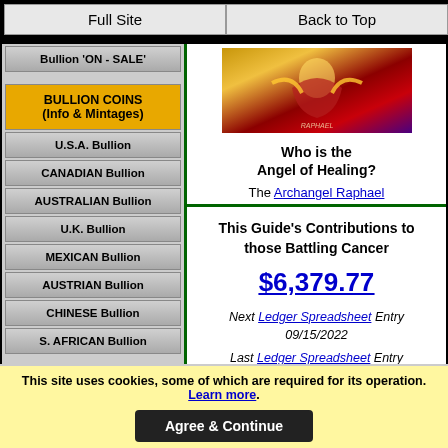Full Site | Back to Top
Bullion 'ON - SALE'
BULLION COINS (Info & Mintages)
U.S.A. Bullion
CANADIAN Bullion
AUSTRALIAN Bullion
U.K. Bullion
MEXICAN Bullion
AUSTRIAN Bullion
CHINESE Bullion
S. AFRICAN Bullion
[Figure (photo): Colorful coin or medallion image with red, gold, and purple tones depicting an angel figure]
Who is the Angel of Healing?
The Archangel Raphael
This Guide's Contributions to those Battling Cancer
$6,379.77
Next Ledger Spreadsheet Entry 09/15/2022
Last Ledger Spreadsheet Entry
This site uses cookies, some of which are required for its operation. Learn more. Agree & Continue